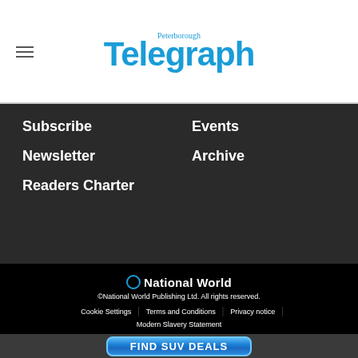Peterborough Telegraph
Subscribe
Events
Newsletter
Archive
Readers Charter
National World
©National World Publishing Ltd. All rights reserved.
Cookie Settings | Terms and Conditions | Privacy notice | Modern Slavery Statement
[Figure (other): FIND SUV DEALS advertisement button]